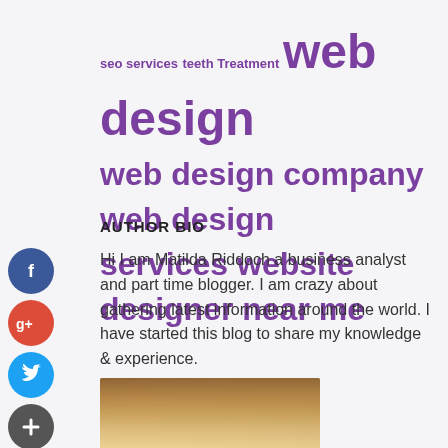seo services teeth Treatment web design web design company web design services website designer near me
AUTHOR BIO
[Figure (infographic): Social media icons: Facebook (blue circle with f), Google+ (red circle with g+), Twitter (blue circle with bird), Plus (dark circle with +)]
Hi I am Matilda Riddoch a business analyst and part time blogger. I am crazy about gathering latest information around the world. I have started this blog to share my knowledge & experience.
[Figure (photo): Portrait photo of a woman with blonde hair]